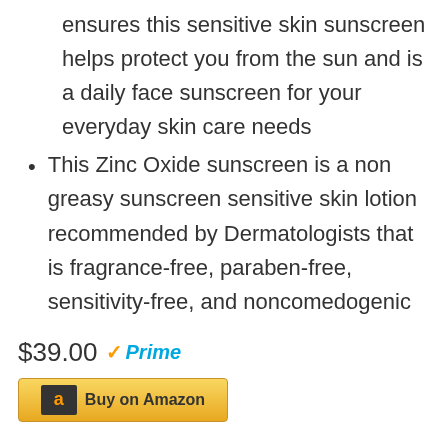ensures this sensitive skin sunscreen helps protect you from the sun and is a daily face sunscreen for your everyday skin care needs
This Zinc Oxide sunscreen is a non greasy sunscreen sensitive skin lotion recommended by Dermatologists that is fragrance-free, paraben-free, sensitivity-free, and noncomedogenic
$39.00 Prime
Buy on Amazon